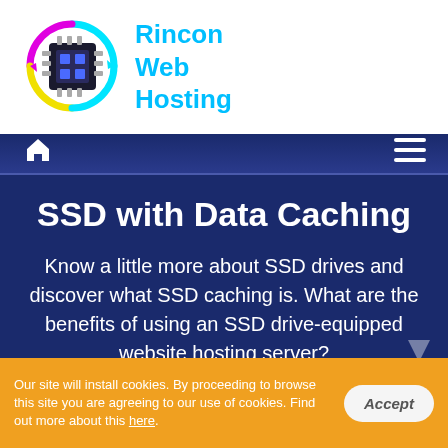[Figure (logo): Rincon Web Hosting logo: circular icon with chip and arrows in cyan, magenta, and yellow, with text 'Rincon Web Hosting' in cyan]
Home | Menu (hamburger icon)
SSD with Data Caching
Know a little more about SSD drives and discover what SSD caching is. What are the benefits of using an SSD drive-equipped website hosting server?
Our site will install cookies. By proceeding to browse this site you are agreeing to our use of cookies. Find out more about this here.